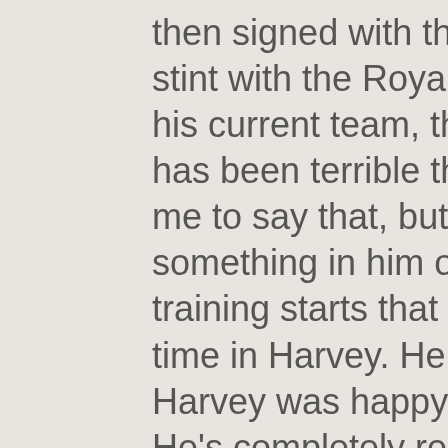then signed with the Angels and had a brief stint with the Royals before leading him to his current team, the Baltimore Orioles. Matt has been terrible the past few years. It kills me to say that, but it's true. However, I saw something in him over these past two spring training starts that I haven't seen in a long time in Harvey. He seemed happy. Matt Harvey was happy with how he performed. He's completely reinvented himself. He's featuring some new pitches, such as a 95 MPH Sinker. SHEEESH! His last spring start might've locked up a spot in the Orioles Opening Day Rotation (4 IP, 1H, 1R, 5ks). I've said this on the